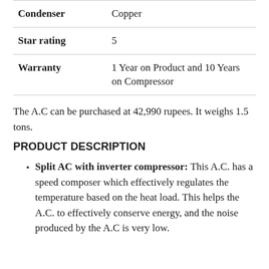| Attribute | Value |
| --- | --- |
| Condenser | Copper |
| Star rating | 5 |
| Warranty | 1 Year on Product and 10 Years on Compressor |
The A.C can be purchased at 42,990 rupees. It weighs 1.5 tons.
PRODUCT DESCRIPTION
Split AC with inverter compressor: This A.C. has a speed composer which effectively regulates the temperature based on the heat load. This helps the A.C. to effectively conserve energy, and the noise produced by the A.C is very low.